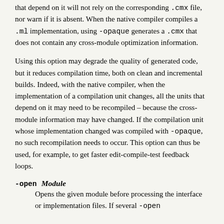that depend on it will not rely on the corresponding .cmx file, nor warn if it is absent. When the native compiler compiles a .ml implementation, using -opaque generates a .cmx that does not contain any cross-module optimization information.
Using this option may degrade the quality of generated code, but it reduces compilation time, both on clean and incremental builds. Indeed, with the native compiler, when the implementation of a compilation unit changes, all the units that depend on it may need to be recompiled – because the cross-module information may have changed. If the compilation unit whose implementation changed was compiled with -opaque, no such recompilation needs to occur. This option can thus be used, for example, to get faster edit-compile-test feedback loops.
-open Module — Opens the given module before processing the interface or implementation files. If several -open